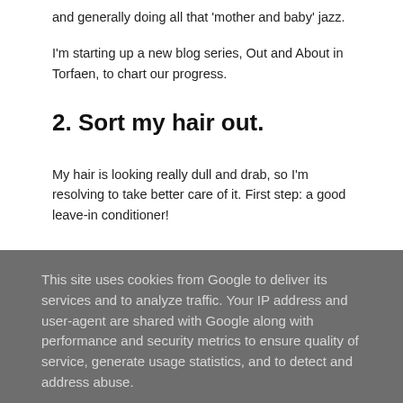and generally doing all that 'mother and baby' jazz.
I'm starting up a new blog series, Out and About in Torfaen, to chart our progress.
2. Sort my hair out.
My hair is looking really dull and drab, so I'm resolving to take better care of it. First step: a good leave-in conditioner!
3. Look after my health.
This site uses cookies from Google to deliver its services and to analyze traffic. Your IP address and user-agent are shared with Google along with performance and security metrics to ensure quality of service, generate usage statistics, and to detect and address abuse.
LEARN MORE    OK